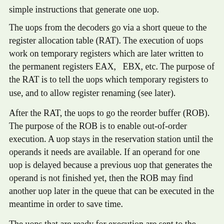simple instructions that generate one uop.
The uops from the decoders go via a short queue to the register allocation table (RAT). The execution of uops work on temporary registers which are later written to the permanent registers EAX,   EBX, etc. The purpose of the RAT is to tell the uops which temporary registers to use, and to allow register renaming (see later).
After the RAT, the uops to go the reorder buffer (ROB). The purpose of the ROB is to enable out-of-order execution. A uop stays in the reservation station until the operands it needs are available. If an operand for one uop is delayed because a previous uop that generates the operand is not finished yet, then the ROB may find another uop later in the queue that can be executed in the meantime in order to save time.
The uops that are ready for execution are sent to the execution units, which are clustered around five ports: Port 0 and 1 can handle arithmetic operations, jumps, etc. Port 2 takes care of all reads from memory, port 3 calculates addresses for memory writes, and port 4 does memory writes.
When an instruction has been executed then it is marked in